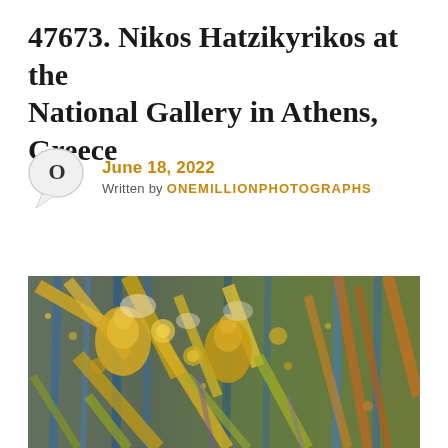47673. Nikos Hatzikyrikos at the National Gallery in Athens, Greece
June 18, 2022
Written by ONEMILLIONPHOTOGRAPHS
[Figure (photo): A colorful impressionistic painting with golden and yellow tones showing figures among dense foliage or brush strokes, displayed at the National Gallery in Athens, Greece.]